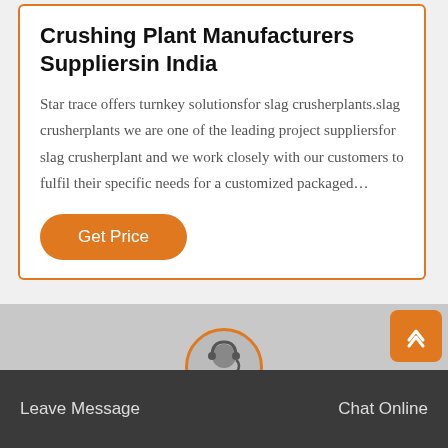Crushing Plant Manufacturers Suppliersin India
Star trace offers turnkey solutionsfor slag crusherplants.slag crusherplants we are one of the leading project suppliersfor slag crusherplant and we work closely with our customers to fulfil their specific needs for a customized packaged…
[Figure (other): Orange rounded button labeled 'Get Price']
[Figure (photo): Gray section with a customer service representative avatar circle with orange border at bottom center, and an orange scroll-to-top button in bottom right]
Leave Message   Chat Online